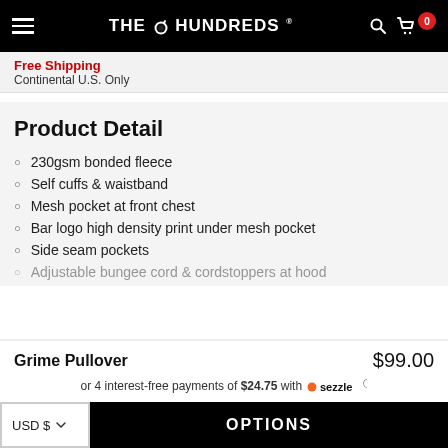THE HUNDREDS
Continental U.S. Only
Product Detail
230gsm bonded fleece
Self cuffs & waistband
Mesh pocket at front chest
Bar logo high density print under mesh pocket
Side seam pockets
Adjustable bungee cord & cordstoppers at hood
Grime Pullover — $99.00
or 4 interest-free payments of $24.75 with Sezzle
USD $ OPTIONS